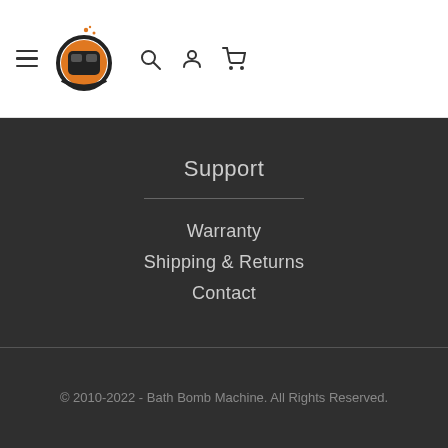Bath Bomb Machine navigation header with logo, hamburger menu, search, account, and cart icons
Support
Warranty
Shipping & Returns
Contact
© 2010-2022 - Bath Bomb Machine. All Rights Reserved.